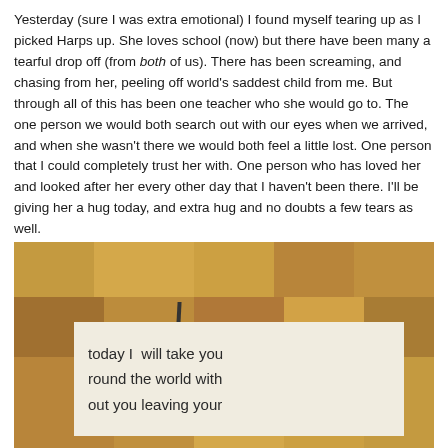Yesterday (sure I was extra emotional) I found myself tearing up as I picked Harps up. She loves school (now) but there have been many a tearful drop off (from both of us). There has been screaming, and chasing from her, peeling off world's saddest child from me. But through all of this has been one teacher who she would go to. The one person we would both search out with our eyes when we arrived, and when she wasn't there we would both feel a little lost. One person that I could completely trust her with. One person who has loved her and looked after her every other day that I haven't been there. I'll be giving her a hug today, and extra hug and no doubts a few tears as well.
[Figure (photo): Photo of a handwritten note on white paper placed on a wooden patchwork surface. The note reads: 'today I will take you round the world with out you leaving your']